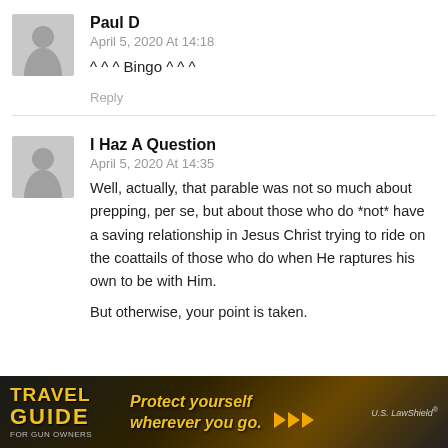Paul D
April 5, 2020 At 14:18
^ ^ ^ Bingo ^ ^ ^
Reply
I Haz A Question
April 5, 2020 At 14:35
Well, actually, that parable was not so much about prepping, per se, but about those who do *not* have a saving relationship in Jesus Christ trying to ride on the coattails of those who do when He raptures his own to be with Him.

But otherwise, your point is taken.
[Figure (infographic): Travel Guide for Gun Owners advertisement banner with text 'Protect yourself wherever you go.' and US LawShield branding]